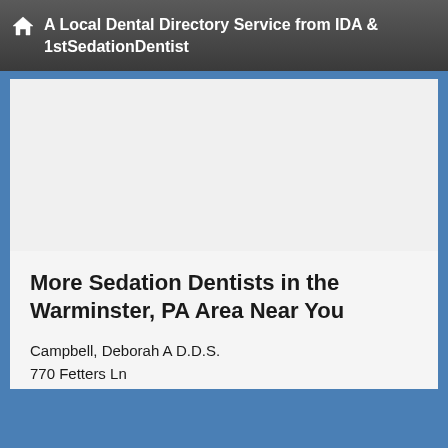A Local Dental Directory Service from IDA & 1stSedationDentist
More Sedation Dentists in the Warminster, PA Area Near You
Campbell, Deborah A D.D.S.
770 Fetters Ln
Wescosville, PA, 18106-9290
Granich, Frank C D.D.S.
5940 Hamilton Blvd # A
Wescosville, PA, 18106-9648